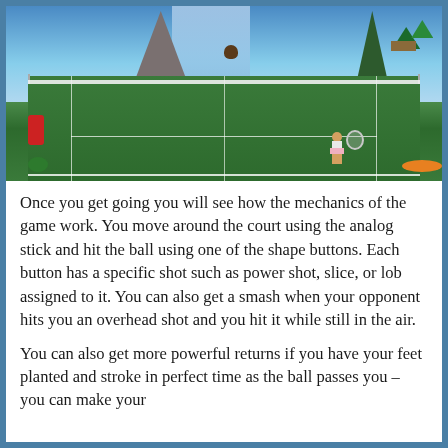[Figure (screenshot): A video game screenshot showing a tennis court in an outdoor setting with grass, a net, mountains, waterfall, trees, a bear in the background, camping tents, a picnic table, a kayak, and a player character with a racket on the right side of the court.]
Once you get going you will see how the mechanics of the game work. You move around the court using the analog stick and hit the ball using one of the shape buttons. Each button has a specific shot such as power shot, slice, or lob assigned to it. You can also get a smash when your opponent hits you an overhead shot and you hit it while still in the air.
You can also get more powerful returns if you have your feet planted and stroke in perfect time as the ball passes you – you can make your